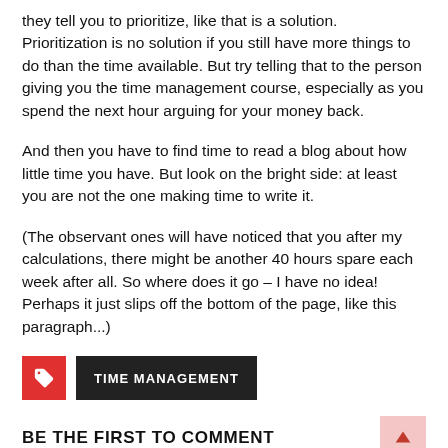they tell you to prioritize, like that is a solution. Prioritization is no solution if you still have more things to do than the time available. But try telling that to the person giving you the time management course, especially as you spend the next hour arguing for your money back.
And then you have to find time to read a blog about how little time you have. But look on the bright side: at least you are not the one making time to write it.
(The observant ones will have noticed that you after my calculations, there might be another 40 hours spare each week after all. So where does it go – I have no idea! Perhaps it just slips off the bottom of the page, like this paragraph...)
TIME MANAGEMENT (tag label)
BE THE FIRST TO COMMENT
Leave a Reply